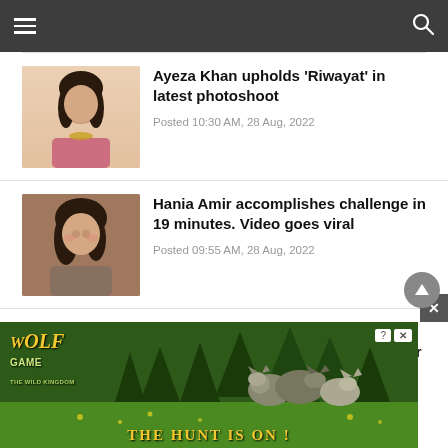Navigation header with menu and search icons
[Figure (photo): Photo of Ayeza Khan, woman in traditional dress with jewelry]
Ayeza Khan upholds ‘Riwayat’ in latest photoshoot
Posted 10:30 AM, 28 Aug, 2022
[Figure (photo): Photo of Hania Amir, woman smiling at camera]
Hania Amir accomplishes challenge in 19 minutes. Video goes viral
Posted 09:55 AM, 28 Aug, 2022
[Figure (photo): Photo of Amna Malick with red hair]
Amna Malick struggles to counter ‘unwanted affection’ in Tamasha Ghar
[Figure (photo): Wolf Game advertisement banner showing wolves in a forest with text THE HUNT IS ON!]